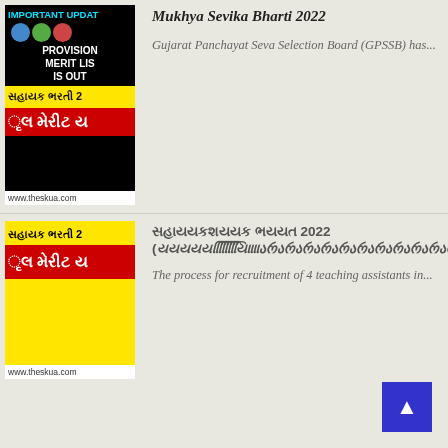[Figure (screenshot): Thumbnail image showing PROVISIONAL MERIT LIST IS OUT notice with Gujarati text 'સહાયક ભરતી 2' in yellow background and 'ૃલ મેરીટ ય' in red background, with www.theskua.com footer]
Mukhya Sevika Bharti 2022
Gujarat Panchayat Seva Selection Board (GPSSB) has...
[Figure (screenshot): Thumbnail image with yellow background showing Gujarati text 'સહાયક ભરતી 2' and red section with 'ૃલ મેરીટ ય']
સહાયયકશયયક ભયયત 2022 (યયયયયયયયયયયયિિિિિિિિિિિિિિિિિિિિિિિિિિિિિિિિિિિિિિિિિિિિિિિિિિિિિિિિિિિિિિિિિિિિિિિિિિિિિિિિિિિિિિિિિિિિિિિિિિિિિિિિિિયયયયિિિિિિિિિિિિિિિિિિаји ририририририририририририририририририририририририририририририририририририририририририририририририририририририририририририририририририририририририририририририририририририририририририририририририририририририририририририририририририририририририририририририририририририририририририририририририририририририририририририририририририририририририририририририририририририририририририририририририририририририририририририририририририририририририририририририририририририририририририририририририририририририририририририририририририририририририририририририририририририририририририририририририририририририририририририририририририририририририририририририририририририририририририририририририририририририририририририририририририририририририририририририририририририририририририририририририририририририририририририририририририририририририририририририририририририририририририририририририририририририририририририририририририририририририририририририририририририририририририририририририририририририририририририририририририририририририририририририририририририририририририририририририририририририририририририририририририририририририририририририририририририририририририририририририририририририририририририририририририририририририририририририририририририририририририририририририририририририририририририририририририририририририририририририририририририририририририририририририририририририририририририририририририририририририририририририририририририририририририририририририририририририририририририририририририририририририририририририририририририририририририририририририририририририририририририририририририририририририририририририририририририририририририририририририририририририририририририририририририририририририририририририририририририририририририририририририририририририририририририририририририририририририририририририририририририририририририририририририририририририририририририририририририририририририририририририририририририририририририририририририририририририририририририририририририририририририририририририририририририририририририририририририририририририририририририририририририририририририририририририририририририририририририририририририририририририририририририририририририририририририририририририририририририририририририририририририририририририририририририририририририририририририририририририририририририририририририририририририририририририририририририририририририририририририририририририририририририририририририририририририририририририририририририририририририририририририририририририририририририририририририририририририририририририририририририририририририририририририририририририририририририририририририририририририририририририририририририририририририририририририририририририририририририририририририририририририририририририририририририририририририририририририририририририририририририририририририририририририририририририририририририририририририририририририририририририририририририририририририририририририририририририририририририририририририририририририририририририририририририририририририририририририририририририририририририририририририририририририририририририририририририририририририририририририририририририририририририририририририририририририририририририририририририририририририририририририририририририририририририририририририририририририририририририририририририририририририририририририририририририририририририририририририририририририририририририририририририририририририририририририририририририририририририририририририририририририририририририририририририририририририририририририририририририририририририририририририририририририририририририририририририририририририририририририририририририририририририририририририририририририририририририририририририририририририририририририририририририририририририририририририририририририририририририририририририририририририририририририририририририририририририририририририририририририририририририририририририририририририририририририририририририририририририририририририририририририририририририририририририририририририририририририририририририририририририририририририририририририририририририририририририририририририририририририририририририририририририририририририририририририририририририририририририририририририририририририририририририририририририририририририририририририририририририририририририририририририририририририририририририририририририририририририририририририририририририририририририририририририририририририририририририририририририририририририририририририририририририририририририририририририририририририририририририририририририририририририририририририририририририририририририририририририририририририририририририририририририририририририририририририририририририририририририририририририририририририририририририририририририририририририририририририририририририририририририририририририририририририририририририририририририририририририририририририририририририририририририририририририририририририририририририририририририририририририририририририририририририририририририририририририририририририририририририририририририририририририририририририририририририририририририририририририририририририририририририририририририририририририририририририририририририририририририририририририририририририририририририририририририририририририририририририририририририририририририририририририририририририририририририририририририририририририририририририририририририририририририририририририририририририририририририририририририририририририририририририририририририририририририририририририририририририририририририририририририририририририририририририририририририририририририририририририририририририририририририририририририририририририририририририририририририририририририририририририририририририририририририририририририририририририририририририририририририририририририририририририририририририририририририририририририририририририририририририририририририририририририририририририририририририририририририририририририририририририририририририририририририририририририририририририририририририририририририририририририририририририририририририририририририририририририририририририририририририририририририририририририририририририририририририририририририририририририририририририририририририририририририририририририририририририририририририририририририририририририририририририририририририририририририририририририририририририририририририририририририририририририририририририририририририририририририририририририририририририририририририририририририририририририририририририририририририририририририририририририририририририририририририририририририририририририририририририририририририририририририририририририририририририририририририририририририририририририририририририририририририририририририририририририририририририририририририририририририририририририририририририририририририририририририририририририририририририририририририририририририририририририририририририририририририририририририририририририририририририририририририририририририририририририририририририририририририририририририририририририририририририририририририририририририририририририририририририририририририририририририририририририририририририририририририририририририририририририририририририририририририририририририририририририририририририририририририририририририририририририририририририририририририририририририририририририририририририририририририририририририририририририририририририририририририририририририририририририририририририририририририририририририририририририририририририририририририририририририририририририририририририририририририририририририририририририририририририририририририририририририририририририририририририририририририририририририририририририририририририририририририририририририририририририририририририририририририририририририририририририририририририририририририририририририририририририририририририририририририририририририририририририририририририририририририририририририририририририририририририририририририририририририририририририририририририририририририририририририририририририририририририририририририририририририририририририририририририририририририририририририририририририририририририририририририририририририририририририририририририририририририририририририририририририририририририририририририририририририририририририририририририририририририририририририририририририририририририририририририририририририририририририририририририририририририририририририририририририририририририририририририририририририририририририририририририририририририририририририририририририририририририририририририририририририририририририририририририририририририририририририририририририририририририририририририририририририририририририририририририририририририририририририририририририририририририририририририририририририририририририририририририририририририририририририририририририририририририририририририририририририририририририририририририририририририририририририририририририририририририририририририририририририририририририририририририририририририририририририририририририририририририририририририририририририририририририририририририририририририририририририририририририририририририририририририририририририририририририририририририририририририририририририририририририририририририририририририририририририририририририририририририририририририририририририририририририририририририририририририририририририририририририририририририририририририририририририририририририририририририририририририририририририририририририририририририририририририририририририририририририририририририририририририририририририририририририририририририририририририририририририририририририририририририририририририририририририририририририририририририририририририририририририририририририририририририририририририририририририририририририририририририририририририририририририририририририририририририририририририририририририририририририририририририририририририририририририририририририририририририририририририририририририририририририририририририририририририририририририририририририририририририририририририририририририририририририририририририририририририририририририририририририририририририририририририририририририририририририририририририририририририририририририририририририририририририририририририририририририририририририририририририририририририририририририририририририририририририририририририририририририририририририририририририририририририририририририририририририририририририририририририририририририририририририририририририририририририририририририририририририририририририририририририририририририририририририририририририририририририририририририририририририририририририририририририририририририририририририририририририририририририририририририририририририририририририририририририририририририририририририририририририририририририририририририририририририририририририририририририририририририририририририририририририририририририририририририририририририририририририририририририририририририририририририририририририририририририририририририририририририририририририририририририририририририририририририририририририририририририририририририририририририририририририририририририририририририририририририририририририририририририририририририририририририририририририририририририририририририририририририририририририририририририририририририририририририририририририририририририририририририририририририририририририририририририририририририририририририририририририририририририририририририририририририририририририририририририририририририририририририририририририририририририририририририририририририририририририририририририририририририририририририририририририририририририририририририририририририририририририририририририририририририририририририририририририририририририририририририририририририририририририририририририририририририририририририририририририририририририририририририририририририририририририририририририририририририририририририририририририририририририририририририририририририририририририририририририририририририририририририририририририририририририририририририририририририририририририририририририририририририририририририририририририририририририририририририририририририририририририририририририририририририририририририририририририририририририририририририририририририририририририририририририририририририририририририририририририририририририририририририририририририририририририририририририририририририририририририририририририририририририририририририририририририририририририририририририририририририририририририририририририририририририририририририририририририририририририририририририририририририририририририририририририририририририририририририририририририририририририририририририририририририририририририририририририририририририририририририририририририририририририририририририририририририририририририририририририририририририририририририририририририририририририририририририририририририририририририририририририририририририририририририририририририририририририририририририририририририририририририририририририририририририририририририририририририририририририририририририририририририририририририририририририририририририририририририририририририририририририририририририририририририририририририририририририририририририририририририририририририририририририририририририририририририририририририририририририририририририририририририририририририририририририририририририририририририририририририририририририририририририририририририририририририририририририририририририририририририририририририририририририририририририририририририририририририририририририририририририририририририририририририририририририририририририририририририририририририририририририририририририририририририририририририририририририририририририририририририририририририририририририририририририририририририририририририририририририририририририририририририририририририририририририририририририририририририририририририририририририририририририририририририририририририририририририририририририририририририририририририририририририририририририририририририририририририририририририририририририририририририририририририририририририририририририририририририририририририририририририририририририририририририририририририририририририририририририририририририририририририририририририририририририририририририририририририририририририририририририририририририририририририририририририририририририририририририририририририририририририририририририририририририририририририририририририририририририририририририририририририририририририририририририририририририририририририририририририририририририририририририририририририририририририририририририририририририририририририририририририририририририририририририририририририририририририририририририририририририририририририририририририририририририририририририририририририририририририририририририририририририририририририририририририририририририририририририририририририририририририририририририририририририририририририририририририририририририририририририририририририририририририририририририририририририририририририририририририририририририририририририририририририририририририририририририририририририририририририририририририририририририририририририририририририририририририририририририририририририририририририририририририририририририририририририририририририририририририририририририририририририририририририририририририририририририририририририририририририририририририририририририририририририририририририририририририририририририририририририририририририририририририририририририририририририририририририририририририририририририририририририририририририририририририририририририририририририририририририририририририририририририририририририририририририририририририририририририририририририририририририририририририририририририририририририририририририририририририририририририририририририририририририририририририририририририририририририририририририририририририририририририририририририририририририририририририририририририририририририририририририририририририририририририририририририририририририририририририририририририририририририририририририририририририририририририририририририририририририририририририририририририририририририририририририририририририририририририририририририририририририририририририририририририририририририририририририририририририририририририририририририририририририририририририририририририририририририририририририририририририририририририририририририририририририририририририририририририририририририририририририририририририририририририририририририририририририририририририририририририририририририририририририририририририририририририририририририририририририририририририририририририририририририририририририририририририририририририририририририририририририририририририририририририририририририририририририририририририририририририририририририририририририририририририририририририририририририририририририририририририририририририририририририририририририририририририририририририририририририририририририририририририририририририририририририририририририририририририририририририририририририририририририририририририририририририририририририририририририририририририририририририририририририририририририририририририририририририририририририририририририририририририририририририририририририририририририририририририририририририририририририририририририририририририририририририририририририририририририририририририририририририририририририририририририририририририририририририририририририририририририририририририририририририририририририририририририририририририририририририририририририририририририририририририририририририририририририририририририририририририририририририририририририририририририририририририририририририририририририририририририририририририририририририририририририририририририририририририририририририририририририририририририририририририририририририририририририририририририририририририририририририририририририририририририририририририририририририририририририририририририририририририририририририририририририририририририририририририририририририририририририририририририририририририририририририририририририририририририририририририририририририририририририририририририририририририририририририририририририририририририририририририририририририририририририририририририририририририририририририририририририририририририририририририририририририририририририририририририририририририририририририририририририририририририририририририририририририририририририририририририририририририририририририририририририририририририририририририририририририририририририририририририририририририририририририририририририририририририририририририририририририририририририририририририририририририририририририририририририририририририририририририририририририририририририририририририририририририририририририририририририририририририририририририририририририририририририририририририририририририририририририририририририририририририририририририририририририририририририририририририририририририририририририририририририририририририририририририририририририририририририририририририририририририририририририририририририририририририририририририририририририририририририририририририририририририририририририририририририририририририририририририририририририририририририририририририририририририририририририририририририририририририририририририририририририририририририририририририририририририририририририририририририририририририририририририририририририририририририририририририририририририририририририририририририририририририририририририририририририририририририририририририририририририририририририририририририририририририририририририририририририририририририририририририририририририририририририририририририририририририририририририририририририририририририририририририририририририририририририририририририририририририририририририририририририририририририририририририририририририририририририририририририририририририририририририририририририририририририририририририририририририририририририририририририририририририририририририририририририририририририририририририририририририририририририририририририририририририририририририририририририририририририририририририририририририририририририририририририририририририририририририририририририририририририририририририририририририририририририририририририририририририририририририририририририририририририририририририририририририририририририририририририририририририририририририририририририририририририририририририририририририририририририририририририририририририририририририририририририририририририририририририририририририририририририририририририририририририририририририририририририририририририририририририририририририририририририририририририририририририририририририририририририририририририририририририририририририририририририририририририририририририририририририририририририририририририририририририририририририририририририририририририририририририририририририририририририририририририририририририририририририририририририририририририририририририририририририририририририририририририририририририририририририририририририририририририририририририририририририририририририририририририририририририририририририририририририририририририририририририририририририририририририририририририририририририририририририририририририририририририририририририририририририририририририририририририририририририририририририририририририририририририририририририририририририририририририририририририририририририририририририририририририририририририририририририририририририририририририририририририририририририририририририририририририририририририририририририририририририририририририририририририририририририририририририририририририририририририририририририририририририририририририририририририририририририририририририририририририририририририририририририририририририририририририририририририририририририририририририририририририририририририририририририририририририририририририририририририририририририририририририририририририририририририририририририририририририририририририририририририририририририририририририририририририририририририририририририририририририририририририририририририририририририририририририририририририририририририририририририририририририририририририририририририририририририририририририририририририририририририририририририририририририририририририририририририририририририририририририририририририририририририририририририририририририририририририририририририририририририририририририририририририририририририририририририририририририририририририририририририририририририририририририририририририририририририририририририририририририририририририририририририририририририририририририририририририририририририририририририририририририририририририририририририририририририририририририририририририририририририририририририририририририририририририририририририририририририририририририририририририририририририририририририририририририририририририририририририририририририририририририририририририририририририририририририририририририририририририририририририририририририририририририририририририририририририририририририририририририририририририририририририририририририририририририририририририририририририририририририририририририририририририририририририририририририририририририририририририририририририририририририририририририририририририририририририририририририририририририририририририририририририририририририририририририририририририририририририририририририририририририририририририририририририририририририририририририририририририририририририририририририририририририририририририририририририририририририририририририририририририририририририририририририририририририририририририририририририририририририририририририририририририририририририририририририририририририририририририририририририририририририририририририририририририририририририририририририририририририририририририририририририририририририририририририририририририририририририририририририририририририририририририририририририририририририририририририририририририририририририририририририририририририририририририририририририририририририририририририририририририририририририририририририририририририририририририририририририририририририририририририририририририририририририририририририририририририририририририририририририририририририририририририририририририририририририририририририририририририририририририририририририририририририририририририририририририририририририририририририририририририририририририририририририририририририририририририририририририририририририририририририририририририририририририририририририририририририририририририририририририририририририририририририририририририририририририририририририририририририририририририририририририририририририририририририририририририририририририририририририририририририририририририририририририририририририририририририририририририририририририририририририририририририририририририририририририририририририририририририририририририририририририририририририририририририририририририририририририририририририририририририририририририририририририририририририририририририририририририририририририририририририририририририририририририририририририририририририририририририририририририририририририририририририририририририририририририририририририририририририририририририририририририририририририририририририририририририририририририририририририририририририририририририририририририририририририририририририририририририририририририририририририририририририририририририририририририририририририририририририририририририририририририририририририририририририририририририририририририририририририририририририририририририририририририририририририририририририририририририририририририририририририририририририририририририририририририририририририририририририририририририририририририририририририририририририририририририририририририририририририририририририририририририририририририририририририририририририририририририририририририририририририририририририририририририририририририририририририририририририририририририририририририририририририририририририририририририририририририририририририририририририририририририририририририририририририририририририририририририририририририририририририририририририририририририририририририририририририририририририририририририририририририририририририририририририририририририририририририририририририририририририририририририририририририририририририририририририририририририририририририририририририририририририририририририририририририририририририририририририририририририририририририририририририририририририририририририририририририририририририририририририририририририририририририририририририририририририририририририририририририририририририририририририририририририририририририририририририририририририририририририририририририририририририририририририририририририририририририририририририририририририририририририририририририририририририририририририририририририририририририририририририририририририририририририририририририририририририририририририририририририририририририририририририририририририририририририририририририририририририририририририририририририририририририририририририририририририририририририририририририририририририририририририририририририририририририририририририририририририририририририририририририририририририририририририририририририририририририририририририририририририририририририририририририририририририририририририририририририририририририририририририририририририририририририририририририририририририририририририририририририририририририририририририририририририририририририририририририририририририририририририририририририририририририририририририририририририририририририририририририририририририририририририририририририририририририририририририририририририририририририририририририририририририририририририририририририририририририририририририририририририририририририририририририририририририририририририририририририририририририририририририририририририририририририририририририририририририририририририририририририририририририририририририририририририририририририририририририририририририририририририририририририририририририририририририририририририририририририририририририририририририририририририририририририририририририририририририририририририририририририририририририририририририририририририририририририририририририририририририририририририририририририририририририририририририририририририририририририририририририририририририририририририририририририририририририририририририририририририририририририририририририририририририририририририририририририририририририририририририририририририририририририририририририририририририририририририририририририририририририририририририририририририририририририририририририририририририририририририририририририририририририририририририририририририририририририририририририририририририририририририририририририририририририририририририририририририририририририририририририририририририририририририририририририририририририририририририририририририририририририририририририририририририририририририририририририририририририририририририририририририририририририририририририририририририририририририририририририририририририририририририририририририририририририририририририририририририририририририририририририририририририририририририририририририририририририририририририририририририририририририририририририририририририририририририририририририририририририририририририририририририририририририририририририририририририририририририририририририририририририририририририририририририририририририририририририририририририририририририририририририририририририририририририририририририририририририририририририририририририририририририририририририририририририририририририририририририририририририририририририририририририририририририририририририририририририририририририририририририририририририририририририририририририририририририририририририририририририририририририририририририририририририририририририририририририририририририририририририририририририририририририририририририририририририририририририририририририририририририририририририририририририририририририририририририририририририририририририририририририририририририририририририририририририририририририририририририририририририририририририририририририририририририририририририририририририририририририририририририририририририририририририририририририририририририририририририририририририририририририририририририририририририририририририририририририририририририририририририририририририририририририририририририририририририририририририририририририририририририририририририририририририририририририририририририририририририририририририририририририририририририририририририририририририририририририририририририририририририририририририририририририририририририририририририририририририририририририририририририририририририририририририририририририририририририририририририририририририририририририририририририририририририририририририририририририририририририририририририририририририририририририририририририририририририририририририририририририририририририририририририририририририририририририририририририририририририририририририририририририририририририририририририририририририририририририририририририририририририририририририририририририририририририририририририририририририририририририририририририририририририририририририририририририририририририририририририририририририририририририририририририририририририририририририририририририририририририририририририририририририририририририририририририририририририририририририририририририририририририририририририририририририририририририририририририририририририририририририририририририририририририририририририририририририририририририририририририририририририририририририририририририририририририририририририририририририририририририририририририририририририририририририририририририририририририририририририририририририририририририририририририририририририририририририририририририририририририририририририририририририририририририририририририририририририририририририририририририририририририририририририририририририририририририририририририририририририририририририририририририририририририририририририририририририририририририририририририририририририририририририририририририририририририририририририририририририририририририририририририририририририририририририририририририририририририририририририририририририририририририририририририририририририририририририририририририририририририририририририририририририририририририририририририририририририририририририририририририририририририририририририририририририририририририририририририририририририририририририририририририририририририририририририририририририририририририририририририририририририририририририририририририририририририририририририририририририририририририририририририририририририририририририририририририририририририририририририририририририририририририририририририририририририририририририририририририририририририририририририририририририририририририририририририририририририририририририририририририририририририририририририририририририририририририририририририририририририририририририририририририририририририририририририририририририририририририририририририририририририририририририририририририририририририририририририририририририририририририририририририририририририририририририририририририририририририририририририририририририририририририририририририририририририририририририририририририририририририририририририририририририририририририририририририририририририририририририририририририририририририририририририририририририририририририририририририририририририририририририририририририририририририририририририририририририририририририририририририририририририририририририририририририририририририририририририририририририририририририририририририририририририририририририририририририририририририририририририририририририририририририририририририририририририририририририририририририририририририририририририририририририририририририририририририририририририририририририририририририририририририририририририририририририририририририририририририририририририририририририририририририририририририририририририририририририририририририририририририририририририририририририририририририририририририририририририририририририририририририририририририририририририририририририририририририририририририририририририририририририририририририририририририририририририририририририририририририририририририририририририририририририририририририририририририририририририририририририририририририририририририририририририририририририририририририририририририририририририририририририририририририририририририририририририририририририририририририририририририририририририририририририририририририририририририририририририририририририририририририририририририририририририририририририририририририририририририририририририририририририририририририририририририририририририририририририририририририририририририририририририририририририририририририририририририририририририририририририририририририририририририририририририририририририририририририририририририририририририририририририририририририририририририририририририририририририририририририририририририририририририририририририририририририририририририририририририририририририририририририририририририририририририририририририририририририририририририририририририририририририририририририририририририририририририририририририририририририририририририририририририририририририририририририририририририририририририририририририририририририририририририририририририририририририририририририририририририририририририририририририририририририририририририририририририририририририририририририририририририририририририририририририририририририририририририририририририририририририририририририририририририририририририририририририририририририририририририририририририририририририририририририририририририририририририририририририририририририририририририририририририририририририририририририририририририририририририририририририририририририририририририририририририририририририририририририририририририририририририририририририририририририририририририририририририририририририририририририририририририририририририририририририририририририририририририририририририририририририририририририририририририририририририририририририририририририририририририририририририририририририририририририририририририририририририририририририририририририририририририририририририририририририририририририририририририририририририририририририририририририририририририририририририририририририририририририририририририририририририририририририририририририририририририририририририририририририририририририририририририририририририририририририририририририририририририририририририририририририририририририририририририририририририририририририририририририририририририририририририририририририририририририририририририририририририририририририририририририририририририририририририририририририририририририририририририририририририририририририририририририририририририририририририририририририририририририририририририририририририририририририририририририририририририририририририририририририририририририририририририририририририририририририририририририририририририририририририририририририририририририририририририририририририририририририририририририририририририририририририририририририририририририририририририририририририририририририририририририририририририририририририририририририририририририририририририририририририририририририририририририририририририририририририририририририририририририририририририририририририририририририририририририририририририририририририририририририририририририририририририририририририририририририририририририририририририририририририририририририририририририририририририририририририририририририририририририририририририририририририририририририририририририририририририририририририририририририририририририририририририририририририририририририририририририририририририририририририририририририририририририририририририририририририририририририририририририририририририририририририририририририририририририририририририририририририририририририририририририририририририририририририририририририририририририририририририририририририририририририририририририририририририририририририририририририририририририририририририририририририририририририририририририририририририририририририририририририририририририририририририририририририририририририририририририририририририририририририририририририририририририририририририририририририририририририририририририририририририририририририририририририририририририририририририририририририририририририририририририририририририририририририририририририририририририририририририририририририририририририририририририририририририририририририририририририририририририририририририририририририририририририририририририририририририририририририририририририририририририририририририририририририририририририририририририририририририририририририририририририририририририририририририририририририририририририририририририририририририририририририририририририририририририририририририририририририририририририририририририририририририририририририририририририририририририририририририририририририририририририририририририририририририририририририририририририририририририририририририририририририририририририририририририририририририририририририририририририририририририририририририририририририририририририририририририририририририририририририририририририририририририририририририририририририририририририририририририририририририририририририририририририририририририририририририририририририририририририририририририририририририририририририририририририририририририририририририририририририририририририририририририририририририририририририририририририририририририририририририририририририририририририририририририририририририририририририририририририририририририририририририририририририририририририририририририририририририририририририририририририририририририририририририририририририририририририририририририририририририририририририририририририририририририририририририририририририририририририририририририририририририририририририририририририририририририририририририририририририририририририририририририририририририририририририририририририририририририририририририририририририририририририририририририририририририририририририририририририририририририририририририририририририририририририририририририририририририририририририририририририририририририририририририририририририририририририририририририририририририририририририририририририририририририририририририририририририририририририририририририририририририририририририририририририририририририририририририририририририририририририририририририририририририририририририририририририририририририририририририририририририририририририририририририририририририририририририририририририририририририририририририририририририририририририририририририририририририририририририририририририририририририририририририририририририририририририририририририририририририририририририририририририририририририририририририририририририририририририририририририририририририририририририририририририририририририририририририририририририририририририририририририририририририририририририририририририририририририририририририририририририририририририририририририририририририририририририририририририририририририририририририририририририририририририририририририририририририририририририририририририририририририририририририририририририририририририририририририририририририририририририририририририририририририририририририририририририририририририририририририририририририририририририририририририририририририририририририририририририририририририририририририририририририририририририририририририририририририририририририририририририририририририририририририририририририририририририририририририририририририририририририририририририририририририририририририририририририририририририририририририририририририририририририририририририририририририририририририририририририририририририририририририририририририририририририририририририририририририририририририририририририририририририририририририририририририририририририририририририририририририририририририририририририририририририририририририририририририририририририририририририририририририририририририририририририририририририририририририририририририририририририририририририририририририририририририририририририририририририририририририририририририририририририририририририририририририририририририририририририририририририририририририририририририририририририририририририририририририририририририририририририририририририририририририририририририририририририририририририририририририририририририририририририририририририририририририририририририририририририририририририририририририририририририририририририририририририририририририририририририририририририририририририририририририририририририририририририририририририририририририририририририририририририририририририририририририририририририририририририририририририририририририририририририририририририририририририририририририририририририририририририририририририририририририририририририририририририририририририририририририририририририририририририририририририририририририририририририририририририририририририририририририририририририририририририририририририририририририририририририририририририририририририририририририририририририририририририририририририририририририририририририририририририририририририририририририририририририририририририририририририририририририририририририририририририририририририририририририририририририририририририририририририририририририририририририририририририририририририририририририририририририририририририририририририририририририририририририририририририририририририририририририририририририририририририририририририририририририририририририририририририририририририририририририририририририририририририририририририририририририририририририририририририририририририририририририририририририририририририририририририририририририририририририририририририририририририририририририририририририририририририририририририририририририририририририририририририририририририририририририририририририририририририририририририририририририририририририририририририририририририририририририририририририририририририририририририририририририририририририририририририририририририририририририририририририририририририририририририририририририририририририририририририририририририририририририририририририририририририририририририририририририририририририририририририририририририририририририририририририририририририририририририририририририририририририририририририририририририририририририририририририририририририририририририририририририририририририририририририририририририририририририририририририририририририририририририририририририририририририририририририририририририририририририририририририририририририририририририририририририририририририририририририририририририририририририририририририририририририририририририририририририририририририририририририририририририририририририририририририририририририририририририририририририририририририририририририририририририририририририририририририририририририририририририририририририририририририририририририририририририририририририририририририририририририририририририририририририририририририририририририририририририририририририририририририририририририририририририририририририририририририририририририририририририририририририририририририририририририририририририририририририририририририририририририририририририририририририририририририририририририририририририририририририририририририририририририририририририририририририририририририририририририририририририририририририририририририририририририририририририририририририририририририририририририририририририририририририририририририририририририририририририририририририририририририририририририририририририририририририририририририририририририририририририририририририририририририририририририририририририририририририририририририририририририририририририририририририририририририририририририририририририририририририририририририририририририририририририририририририририририририририририририририририририририририририририририририририририририририририририририририририририририририририририририририририририририририририририририририририририририририририририририририририририририририририририририририририририририририририририририририририририририририририририририририририририририририририририририририририририририририририририририририририририририририририририририририририририририририририририририририририририририририририририририририририририририририририририририририририририририририририририририририририририририририририририририририририририририририририририририририририририририририририририририририририририририририририририририририририририририририририририририририририририририририририририририририририририририририририририририририририририририририририририририририририририририририририририририририририририририририририририририририририририририририририририририририририририририририририририририририририририририририририририририририририририририририририририририририририририририририририририририририририририририририририририририририририририририририририририририририририририририририририририририририририририририририририририририририририририририририририририририририририририририририририририририририририририририририририририририририририририририририририририририририририририририририририририририририририририририририририририририририририририририририририририририририририририририририририририририририририририририририририририририририририририририририририририририририририририририририририририририририририририририририририририририририририририририририририририририририририририририририририририририририририририририририририририририририририририририририририририририририририририририририририририририририририририририририририририририририририририририририририририририририририририририририририририририририририририририририририририририририририририририририририририририририририририририририририририририририририририририририририририририририририририририририририририририририририририририририририририририририририририририририририририририририририририририририририририририририририририририририририририририририририририририририририририририририририририририририририририририририририририририририририририририририририририририририририририририририририририририририририририририририририририририририририририририририририририририририририририририририририририририририририририририририририририририририририририририририририририририририририририририририририририририририририририририририририририририририририририририририририририририририририририририририририририририририририририририририририририририририририририририририририририририририририририририририририририририририририририририририририририририририририририририририририририририририририририририририририририририририририририририририририририририририририририририририририририририририририририририририририририририририририририририририририририририририририририририририририририририририририририририририририририририририририририририририририририририририририририририририририририририририририририририририририририририририририририририририририририририририририририририририририририририририририририририририририририририририририририририририририририририририририририририририририририририририририририририририририририририририририририририририририририририририририририририририририририририририририририририририририририририририририририририририририририририририририририририририририририририририририририририририририририририририририририририририририририририририририририририририририририририририририририририририририририририририририририририририририририририририририририририририририририририририририририририририририририририририририририририририририририририририририририририририририририририририририририририририририририририририририририририририририририририририририририририририририририририририририририририририририририририририририририририририририририририририририририририририририририририририририририририририририририририририририририририририририририририририририририририририририририририририририририририририририририририририририририририририририририририририририририририририририририририририририририририририририририририририририририририририририририририририририририририририририририририририририририririririririri ририририририририририририририририририარარარარარარარარარარარარარარარარარარარარარარარარარარარარარარარარარარარარარარარარარარარარარარარარარარარარარარარარარარარარარარარარარარარარარარარარარარარარარარარარარარარარარარარარარარარარარარარარარარარარარარარარარარარარარარარარარარარარარარარარარარარარარარარარარარარარარარარარარარარარარარარარარარარარარარარარარარარარარარარარარარარარარარარარარარარარარარარარარარარარარარარარარარარარარარარარარარარარარარარარარარარარარარარარარარარარარარარარარარარარარარარარარარარარარარარარარარარარარარარარარარარარარარარარარარადადდდდდდდდდდდდდდდდდდდდდდდდდდდდდდდდდდდდდდდდდდდდდდდდდდდდდდდდდდდდდдето)  ( )</text>  I realize this is getting unwieldy. Let me write the actual clean title text for the Gujarati in card 2.
The process for recruitment of 4 teaching assistants in...